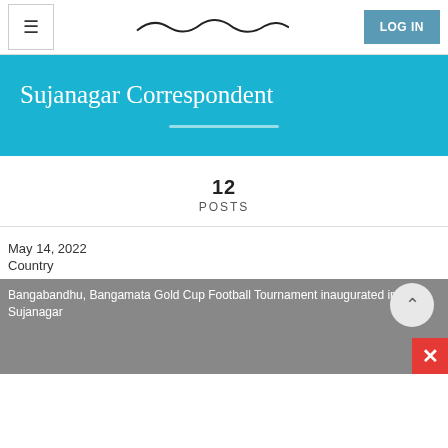≡  [logo]  LOG IN
Sujanagar Correspondent
12
POSTS
May 14, 2022
Country
[Figure (photo): Placeholder image for article: Bangabandhu, Bangamata Gold Cup Football Tournament inaugurated in Sujanagar]